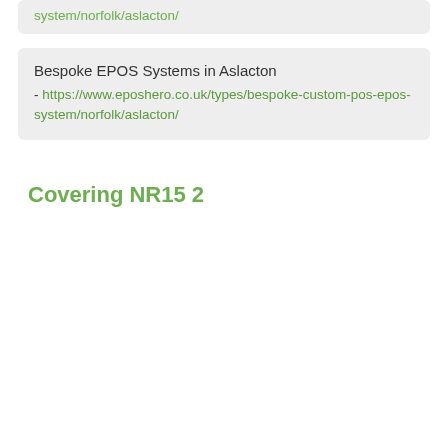system/norfolk/aslacton/
Bespoke EPOS Systems in Aslacton - https://www.eposhero.co.uk/types/bespoke-custom-pos-epos-system/norfolk/aslacton/
Covering NR15 2